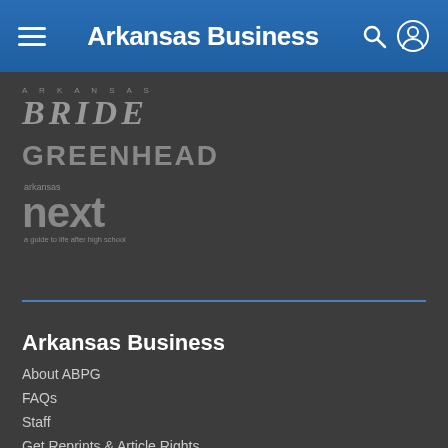Arkansas Business
[Figure (logo): Arkansas Bride magazine logo in gray italic serif font]
[Figure (logo): Greenhead logo in gray bold sans-serif uppercase font]
[Figure (logo): Arkansas Next magazine logo with 'next' in large bold gray font and tagline 'a guide to life after high school']
Arkansas Business
About ABPG
FAQs
Staff
Get Reprints & Article Rights
Advertise
Work with Us
Industry News
Agriculture